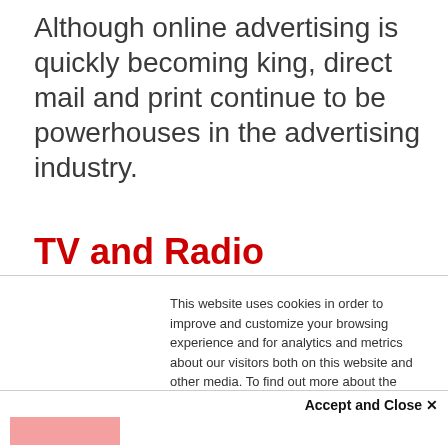Although online advertising is quickly becoming king, direct mail and print continue to be powerhouses in the advertising industry.
TV and Radio
This website uses cookies in order to improve and customize your browsing experience and for analytics and metrics about our visitors both on this website and other media. To find out more about the cookies we use, see our Privacy Policy.
Accept and Close ✕
Your browser settings do not allow cross-site tracking for advertising. Click on this page to allow AdRoll to use cross-site tracking to tailor ads to you. Learn more or opt out of this AdRoll tracking by clicking here. This message only appears once.